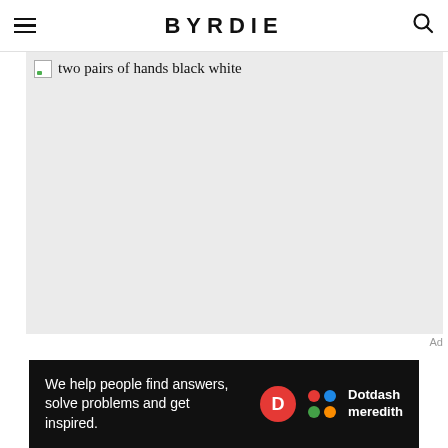BYRDIE
[Figure (photo): Image placeholder showing alt text 'two pairs of hands black white' on a light gray background]
Ad
[Figure (other): Dotdash Meredith advertisement banner: 'We help people find answers, solve problems and get inspired.' with Dotdash Meredith logo]